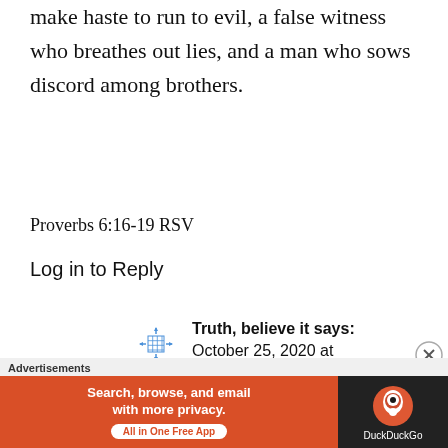make haste to run to evil, a false witness who breathes out lies, and a man who sows discord among brothers.
Proverbs 6:16-19 RSV
Log in to Reply
Truth, believe it says: October 25, 2020 at 3:17 pm
I'd say this sums up nicely
Advertisements
[Figure (screenshot): DuckDuckGo advertisement banner: orange background with white text 'Search, browse, and email with more privacy. All in One Free App' and DuckDuckGo logo on dark background]